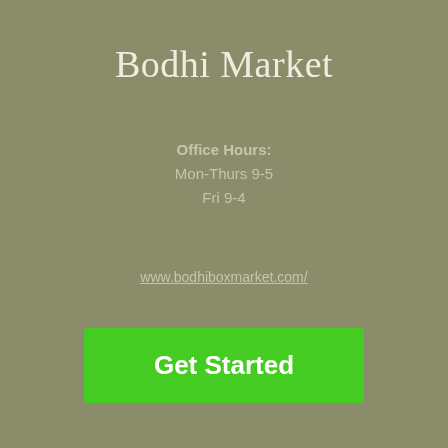Bodhi Market
Office Hours:
Mon-Thurs 9-5
Fri 9-4
www.bodhiboxmarket.com/
Get Started